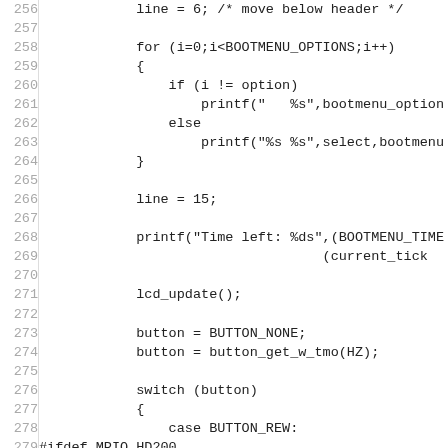[Figure (other): Source code listing (C code), lines 256-285, showing bootmenu navigation logic with line numbers on the left and code on the right.]